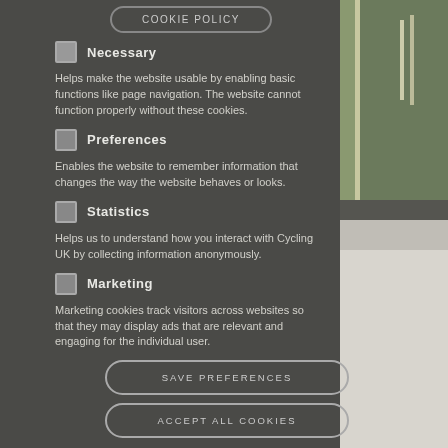COOKIE POLICY
Necessary
Helps make the website usable by enabling basic functions like page navigation. The website cannot function properly without these cookies.
Preferences
Enables the website to remember information that changes the way the website behaves or looks.
Statistics
Helps us to understand how you interact with Cycling UK by collecting information anonymously.
Marketing
Marketing cookies track visitors across websites so that they may display ads that are relevant and engaging for the individual user.
SAVE PREFERENCES
ACCEPT ALL COOKIES
[Figure (photo): Outdoor photograph showing a road and green grass, partially visible on the right side of the page]